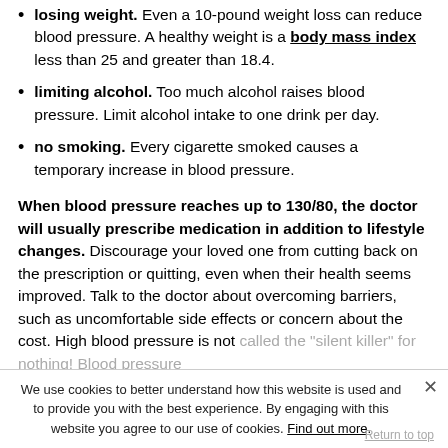losing weight. Even a 10-pound weight loss can reduce blood pressure. A healthy weight is a body mass index less than 25 and greater than 18.4.
limiting alcohol. Too much alcohol raises blood pressure. Limit alcohol intake to one drink per day.
no smoking. Every cigarette smoked causes a temporary increase in blood pressure.
When blood pressure reaches up to 130/80, the doctor will usually prescribe medication in addition to lifestyle changes. Discourage your loved one from cutting back on the prescription or quitting, even when their health seems improved. Talk to the doctor about overcoming barriers, such as uncomfortable side effects or concern about the cost. High blood pressure is not called the “silent killer” for nothing! Blood pressure treatment is for life.
We use cookies to better understand how this website is used and to provide you with the best experience. By engaging with this website you agree to our use of cookies. Find out more.
Return to top